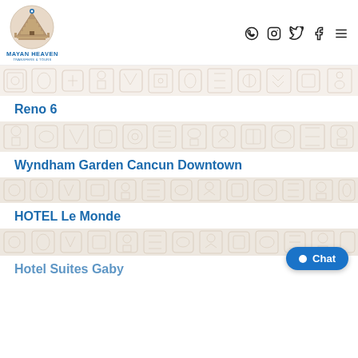[Figure (logo): Mayan Heaven Transfers & Tours logo with circular emblem showing a Mayan pyramid and social media icons (WhatsApp, Instagram, Twitter, Facebook) and hamburger menu]
Reno 6
Wyndham Garden Cancun Downtown
HOTEL Le Monde
Hotel Suites Gaby